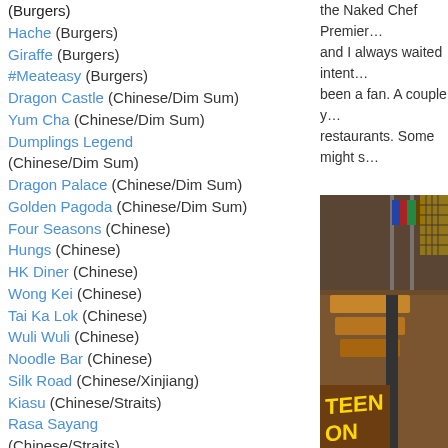(Burgers)
Hache (Burgers)
Giraffe (Burgers)
#Meateasy (Burgers)
Dragon Castle (Chinese/Dim Sum)
Yum Cha (Chinese/Dim Sum)
Dumplings Legend (Chinese/Dim Sum)
Dragon Palace (Chinese/Dim Sum)
Golden Pagoda (Chinese/Dim Sum)
Four Seasons (Chinese)
Hungs (Chinese)
HK Diner (Chinese)
Wong Kei (Chinese)
Tai Ka Lok (Chinese)
Wuli Wuli (Chinese)
Noodle Bar (Chinese)
Silk Road (Chinese/Xinjiang)
Kiasu (Chinese/Straits)
Rasa Sayang (Chinese/Straits)
Johanssons (British)
Fernandez and Wells (British)
The Bear (British/Pub)
The Red Lion and Sun
the Naked Chef Premier… and I always waited intent… been a fan. A couple y… restaurants. Some might s…
[Figure (photo): Interior of a restaurant showing a shelf with books and bottles, and a wooden bar/counter with neon sign reading text in perspective shot.]